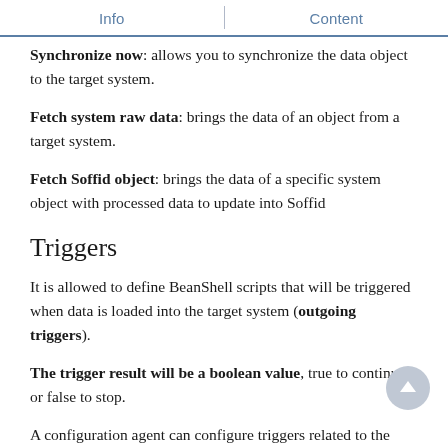Info	Content
Synchronize now: allows you to synchronize the data object to the target system.
Fetch system raw data: brings the data of an object from a target system.
Fetch Soffid object: brings the data of a specific system object with processed data to update into Soffid
Triggers
It is allowed to define BeanShell scripts that will be triggered when data is loaded into the target system (outgoing triggers).
The trigger result will be a boolean value, true to continue or false to stop.
A configuration agent can configure triggers related to the operation to be performed. These are different trigger types...